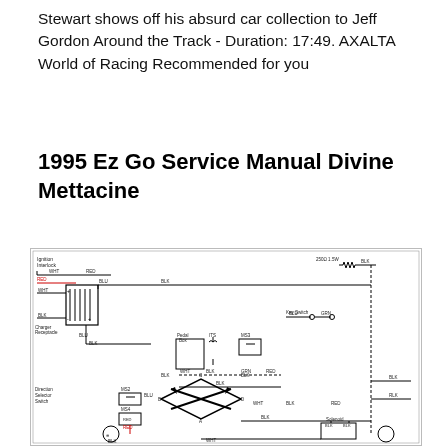Stewart shows off his absurd car collection to Jeff Gordon Around the Track - Duration: 17:49. AXALTA World of Racing Recommended for you
1995 Ez Go Service Manual Divine Mettacine
[Figure (schematic): Electrical wiring schematic for a 1995 EZ-GO golf cart, showing battery, charger receptacle, direction selector switch, key switch, pedal box, ITS, MS3, MS4, MS2, solenoid, and associated wiring color codes (WHT, RED, BLK, BLU, GRN) with a motor symbol in the center.]